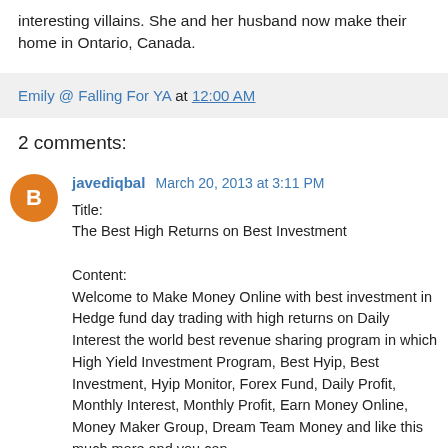interesting villains. She and her husband now make their home in Ontario, Canada.
Emily @ Falling For YA at 12:00 AM
2 comments:
javediqbal March 20, 2013 at 3:11 PM
Title:
The Best High Returns on Best Investment

Content:
Welcome to Make Money Online with best investment in Hedge fund day trading with high returns on Daily Interest the world best revenue sharing program in which High Yield Investment Program, Best Hyip, Best Investment, Hyip Monitor, Forex Fund, Daily Profit, Monthly Interest, Monthly Profit, Earn Money Online, Money Maker Group, Dream Team Money and like this much more and you can